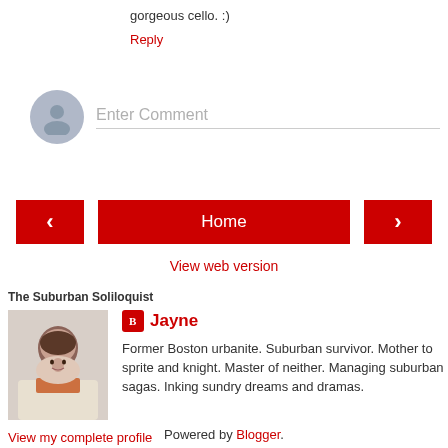gorgeous cello. :)
Reply
[Figure (other): Comment input area with grey avatar placeholder and 'Enter Comment' placeholder text]
[Figure (infographic): Navigation bar with left arrow button, Home button (red), and right arrow button (red)]
View web version
The Suburban Soliloquist
[Figure (photo): Profile photo of a woman with dark hair against a light background]
Jayne
Former Boston urbanite. Suburban survivor. Mother to sprite and knight. Master of neither. Managing suburban sagas. Inking sundry dreams and dramas.
View my complete profile
Powered by Blogger.